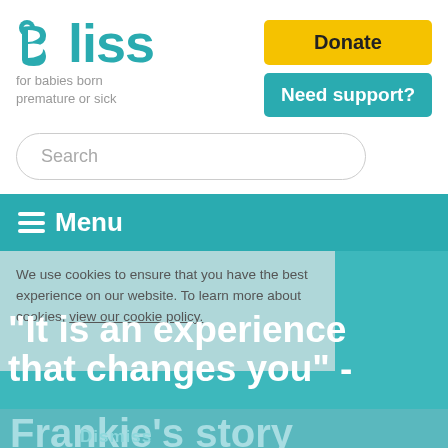[Figure (logo): Bliss charity logo - teal stylized 'Bliss' text with tagline 'for babies born premature or sick']
Donate
Need support?
Search
Menu
We use cookies to ensure that you have the best experience on our website. To learn more about cookies, view our cookie policy.
"It is an experience that changes you" -
Frankie's story
Dismiss